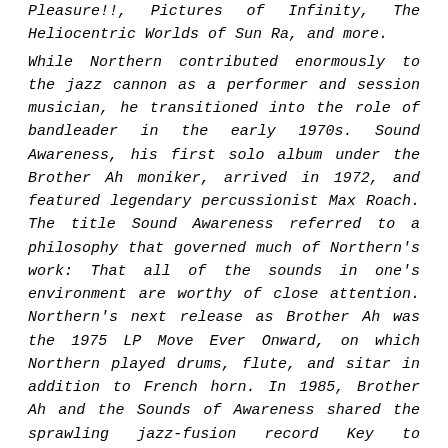Pleasure!!, Pictures of Infinity, The Heliocentric Worlds of Sun Ra, and more. While Northern contributed enormously to the jazz cannon as a performer and session musician, he transitioned into the role of bandleader in the early 1970s. Sound Awareness, his first solo album under the Brother Ah moniker, arrived in 1972, and featured legendary percussionist Max Roach. The title Sound Awareness referred to a philosophy that governed much of Northern's work: That all of the sounds in one's environment are worthy of close attention. Northern's next release as Brother Ah was the 1975 LP Move Ever Onward, on which Northern played drums, flute, and sitar in addition to French horn. In 1985, Brother Ah and the Sounds of Awareness shared the sprawling jazz-fusion record Key to Nowhere. In addition to his work as a musician, Northern was also an educator. In 1970, he took a teaching position at Dartmouth College, where he worked during jazz trumpeter Don Cherry's tenure at the university. He continued to teach in schools and youth programs for decades until shortly before he died. Northern was also a reputable DJ, hosting a Washington D.C.-based radio program titled “The Jazz Collectors” for about